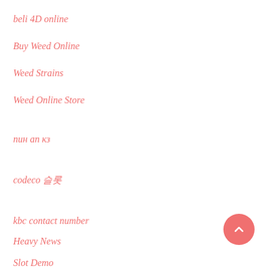beli 4D online
Buy Weed Online
Weed Strains
Weed Online Store
пин ап кз
codeco 슬롯
kbc contact number
Heavy News
Slot Demo